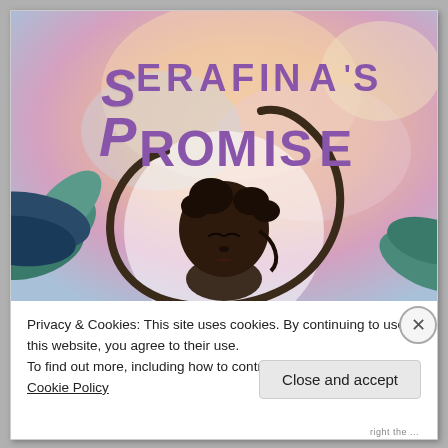[Figure (illustration): Book cover of 'Serafina's Promise' showing a young dark-skinned girl with her head tilted back, surrounded by a circular brushstroke, with large purple hand-lettered text reading SERAFINA'S PROMISE against a pastel peach/pink/blue background with tropical leaves.]
Privacy & Cookies: This site uses cookies. By continuing to use this website, you agree to their use.
To find out more, including how to control cookies, see here: Cookie Policy
Close and accept